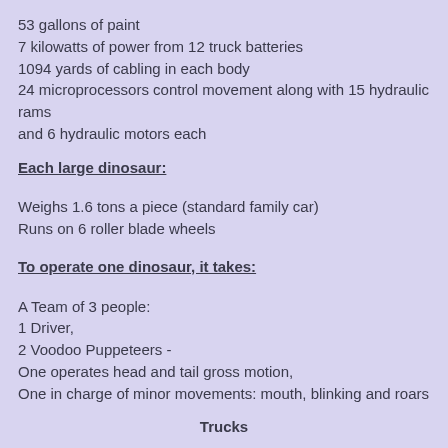53 gallons of paint
7 kilowatts of power from 12 truck batteries
1094 yards of cabling in each body
24 microprocessors control movement along with 15 hydraulic rams
and 6 hydraulic motors each
Each large dinosaur:
Weighs 1.6 tons a piece (standard family car)
Runs on 6 roller blade wheels
To operate one dinosaur, it takes:
A Team of 3 people:
1 Driver,
2 Voodoo Puppeteers -
One operates head and tail gross motion,
One in charge of minor movements: mouth, blinking and roars
Trucks